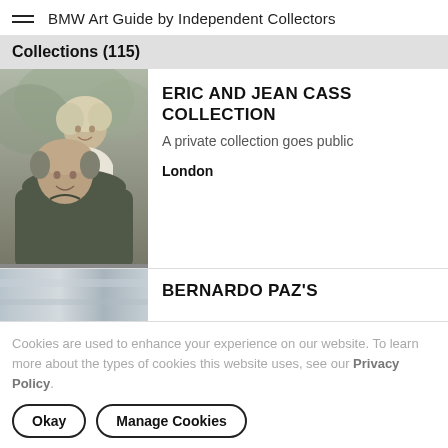BMW Art Guide by Independent Collectors
Collections (115)
[Figure (photo): Black and white photo of Eric and Jean Cass, a couple smiling outdoors]
ERIC AND JEAN CASS COLLECTION
A private collection goes public
London
[Figure (photo): Partial photo (blurred/cropped) for Bernardo Paz listing]
BERNARDO PAZ'S
Cookies are used to enhance your experience on our website. To learn more about the types of cookies this website uses, see our Privacy Policy.
Okay
Manage Cookies